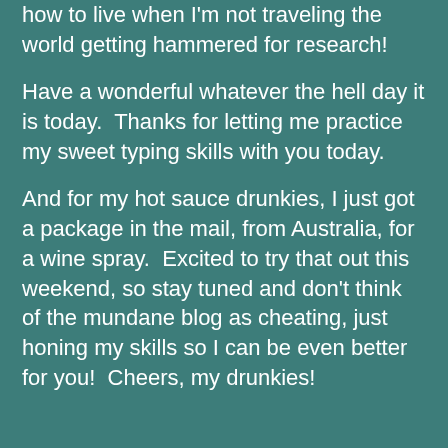how to live when I'm not traveling the world getting hammered for research!
Have a wonderful whatever the hell day it is today.  Thanks for letting me practice my sweet typing skills with you today.
And for my hot sauce drunkies, I just got a package in the mail, from Australia, for a wine spray.  Excited to try that out this weekend, so stay tuned and don't think of the mundane blog as cheating, just honing my skills so I can be even better for you!  Cheers, my drunkies!